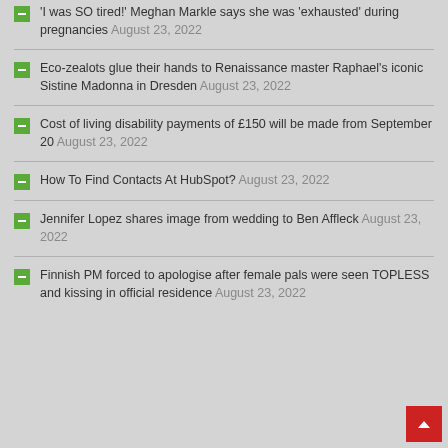'I was SO tired!' Meghan Markle says she was 'exhausted' during pregnancies August 23, 2022
Eco-zealots glue their hands to Renaissance master Raphael's iconic Sistine Madonna in Dresden August 23, 2022
Cost of living disability payments of £150 will be made from September 20 August 23, 2022
How To Find Contacts At HubSpot? August 23, 2022
Jennifer Lopez shares image from wedding to Ben Affleck August 23, 2022
Finnish PM forced to apologise after female pals were seen TOPLESS and kissing in official residence August 23, 2022